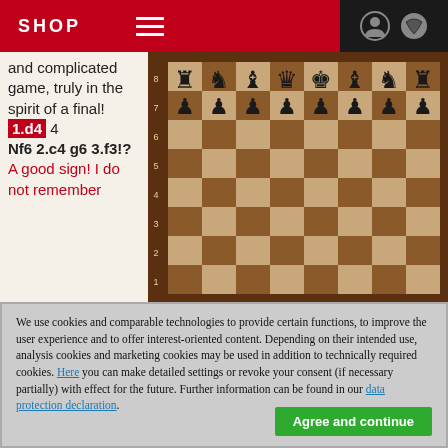SHOP
and complicated game, truly in the spirit of a final! 1.d4 4 Nf6 2.c4 g6 3.f3!? A good sign! I do not remember
[Figure (photo): Chess board showing starting position with black pieces on ranks 7 and 8 (rook, knight, bishop, queen, king, bishop, knight, rook on rank 8; pawns on rank 7). Board has wooden brown and light square coloring with rank/file markings.]
We use cookies and comparable technologies to provide certain functions, to improve the user experience and to offer interest-oriented content. Depending on their intended use, analysis cookies and marketing cookies may be used in addition to technically required cookies. Here you can make detailed settings or revoke your consent (if necessary partially) with effect for the future. Further information can be found in our data protection declaration.